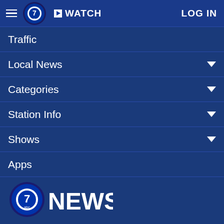abc7 WATCH LOG IN
Traffic
Local News
Categories
Station Info
Shows
Apps
[Figure (logo): abc7 NEWS logo — blue circle with '7' and 'abc' text, followed by 'NEWS' in large white letters]
Follow Us: [Facebook] [Twitter] [Instagram] [Email]
Privacy Policy
Do Not Sell My Personal Information
Children's Privacy Policy